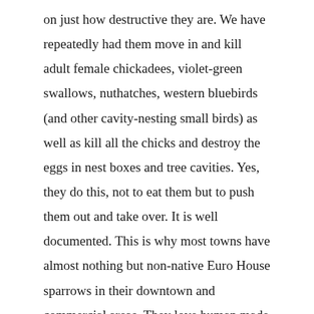on just how destructive they are. We have repeatedly had them move in and kill adult female chickadees, violet-green swallows, nuthatches, western bluebirds (and other cavity-nesting small birds) as well as kill all the chicks and destroy the eggs in nest boxes and tree cavities. Yes, they do this, not to eat them but to push them out and take over. It is well documented. This is why most towns have almost nothing but non-native Euro House sparrows in their downtown and commercial areas. They love human made cavities and they love millet filled birdseed. Please do not use millet filled bird seed. Please use restrictor holes on your nest boxes – you can look this up for the dimension on the internet easily enough. We set traps. Since we have done that, we have seen every other